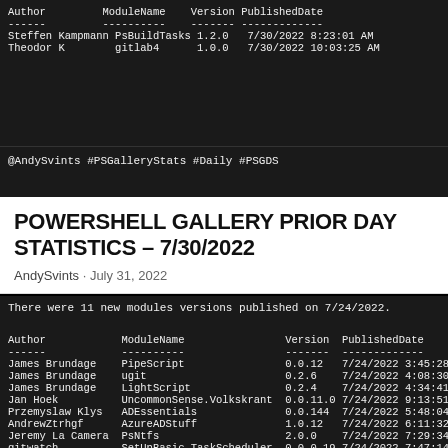| Author | ModuleName | Version | PublishedDate |
| --- | --- | --- | --- |
| Steffen Kampmann | PsBuildTasks | 1.2.0 | 7/30/2022 8:23:01 AM |
| Theodor K | gitlab4 | 1.0.0 | 7/30/2022 10:03:25 AM |
@AndySvints #PSGalleryStats #Daily #PSGDS
POWERSHELL GALLERY PRIOR DAY STATISTICS – 7/30/2022
AndySvints · July 31, 2022
There were 11 new modules versions published on 7/24/2022.
| Author | ModuleName | Version | PublishedDate |
| --- | --- | --- | --- |
| James Brundage | PipeScript | 0.0.12 | 7/24/2022 3:45:28 AM |
| James Brundage | ugit | 0.2.6 | 7/24/2022 4:08:30 AM |
| James Brundage | LightScript | 0.2.4 | 7/24/2022 4:34:41 AM |
| Jan Hoek | UncommonSense.Volkskrant | 0.0.11.0 | 7/24/2022 9:13:51 AM |
| Przemyslaw Klys | ADEssentials | 0.0.144 | 7/24/2022 5:48:04 PM |
| AndrewZtrhgf | AzureADStuff | 1.0.12 | 7/24/2022 6:11:32 PM |
| Jeremy La Camera | PsNtfs | 2.0.0 | 7/24/2022 7:29:34 PM |
| gitwatch | SetUpBasic.TaskScheduler | 0.0.0.19 | 7/24/2022 7:47:14 PM |
| Gilbert Sanchez | RPGDice | 0.1.5 | 7/24/2022 8:19:13 PM |
| Adam Bacon | ChartImage | 1.0.2 | 7/24/2022 9:34:00 PM |
| Freddie Sackur | FindFunctionCalls | 1.4.4 | 7/24/2022 9:40:28 PM |